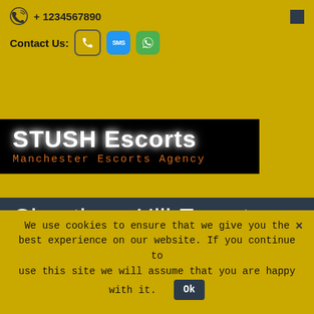+ 1234567890
Contact Us:
[Figure (logo): STUSH Escorts - Manchester Escorts Agency logo on black background]
Cheetham Hill Escorts
4 Self-Care Tips For Every Escort This Holiday Season
We use cookies to ensure that we give you the best experience on our website. If you continue to use this site we will assume that you are happy with it. Ok